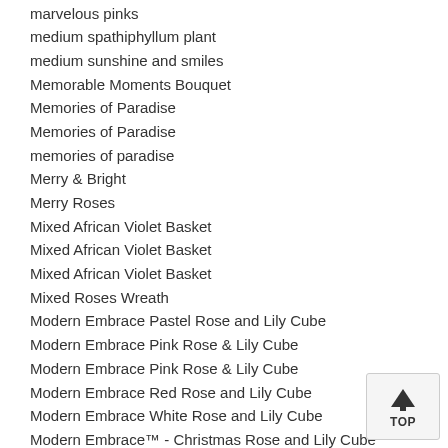marvelous pinks
medium spathiphyllum plant
medium sunshine and smiles
Memorable Moments Bouquet
Memories of Paradise
Memories of Paradise
memories of paradise
Merry & Bright
Merry Roses
Mixed African Violet Basket
Mixed African Violet Basket
Mixed African Violet Basket
Mixed Roses Wreath
Modern Embrace Pastel Rose and Lily Cube
Modern Embrace Pink Rose & Lily Cube
Modern Embrace Pink Rose & Lily Cube
Modern Embrace Red Rose and Lily Cube
Modern Embrace White Rose and Lily Cube
Modern Embrace™ - Christmas Rose and Lily Cube
Modern Enchantment for Spring
Modern Roses - One Dozen
Modern Roses - One Dozen Pink
Modern Roses - One Dozen Red
Moment Of Silence funeral basket
Morning Bright
Morning Melody